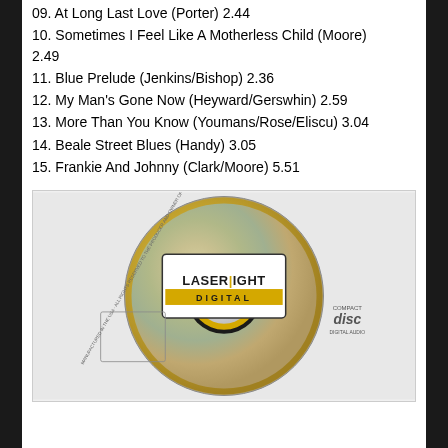09. At Long Last Love (Porter) 2.44
10. Sometimes I Feel Like A Motherless Child (Moore) 2.49
11. Blue Prelude (Jenkins/Bishop) 2.36
12. My Man's Gone Now (Heyward/Gerswhin) 2.59
13. More Than You Know (Youmans/Rose/Eliscu) 3.04
14. Beale Street Blues (Handy) 3.05
15. Frankie And Johnny (Clark/Moore) 5.51
[Figure (photo): Photo of a Laserlight Digital compact disc]